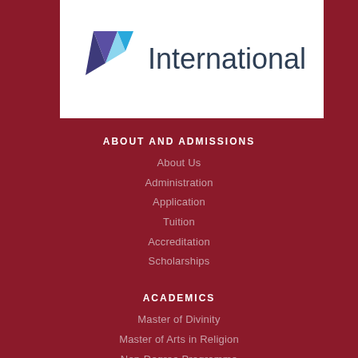[Figure (logo): Logo with geometric triangles in purple and blue colors next to the word 'International' in dark blue text on white background]
ABOUT AND ADMISSIONS
About Us
Administration
Application
Tuition
Accreditation
Scholarships
ACADEMICS
Master of Divinity
Master of Arts in Religion
Non-Degree Programme